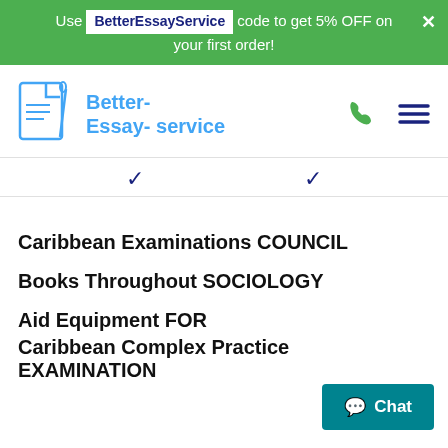Use BetterEssayService code to get 5% OFF on your first order!
[Figure (logo): Better-Essay-service logo with document and pen icon, blue color]
Caribbean Examinations COUNCIL
Books Throughout SOCIOLOGY
Aid Equipment FOR
Caribbean Complex Practice EXAMINATION